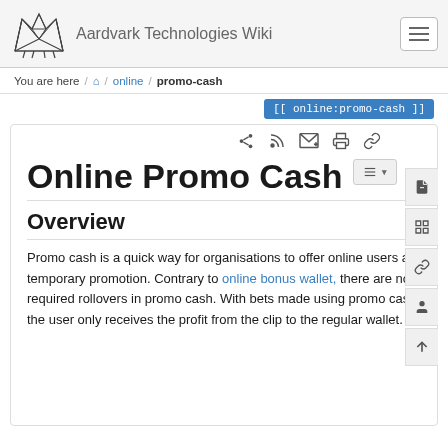Aardvark Technologies Wiki
You are here / home / online / promo-cash
[[ online:promo-cash ]]
Online Promo Cash
Overview
Promo cash is a quick way for organisations to offer online users a temporary promotion. Contrary to online bonus wallet, there are no required rollovers in promo cash. With bets made using promo cash, the user only receives the profit from the clip to the regular wallet.